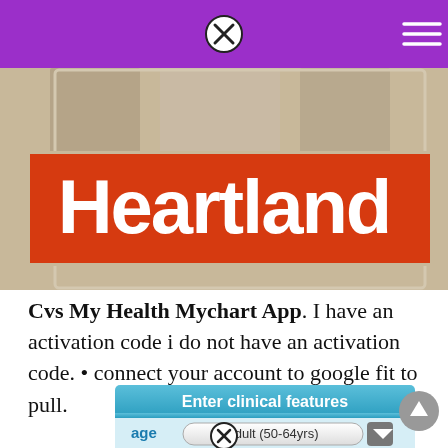[Figure (screenshot): Purple navigation bar at the top of a mobile app with a close (X) button centered and a hamburger menu icon on the right]
[Figure (photo): Photo of three people (two women and one man) with a large red banner overlay reading 'Heartland' in bold white text]
Cvs My Health Mychart App. I have an activation code i do not have an activation code. • connect your account to google fit to pull.
[Figure (screenshot): A UI widget with a teal 'Enter clinical features' header and a dropdown selector showing 'adult (50-64yrs)' for the 'age' field, followed by a close button and navigation arrows at the bottom]